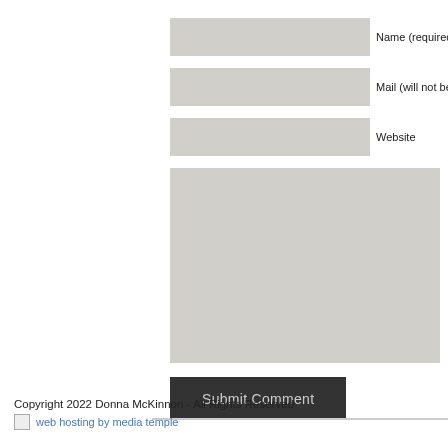[Figure (screenshot): Web comment form with input fields for Name (required), Mail (will not be published), Website, a large textarea, and a Submit Comment button]
Copyright 2022 Donna McKinnon - All Rights Reserved
web hosting by media temple